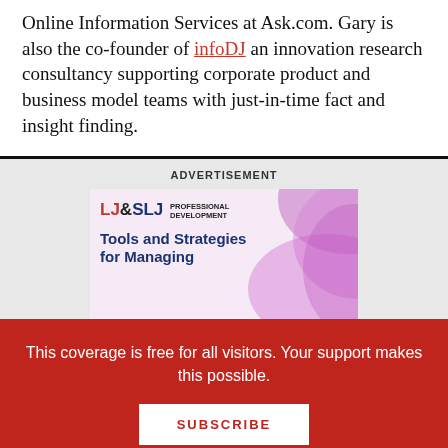Online Information Services at Ask.com. Gary is also the co-founder of infoDJ an innovation research consultancy supporting corporate product and business model teams with just-in-time fact and insight finding.
[Figure (illustration): LJ&SLJ Professional Development advertisement banner with pink/purple swirl design. Text reads: LJ&SLJ PROFESSIONAL DEVELOPMENT, Tools and Strategies for Managing]
This coverage is free for all visitors. Your support makes this possible.
SUBSCRIBE